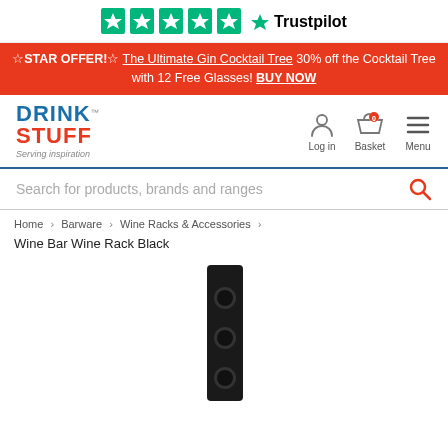[Figure (logo): Trustpilot 5-star rating logo with green stars and Trustpilot wordmark]
☆STAR OFFER!☆ The Ultimate Gin Cocktail Tree 30% off the Cocktail Tree with 12 Free Glasses! BUY NOW
[Figure (logo): DrinkStuff logo with blue DRINK and orange STUFF text, tagline: Serving inspiration. Navigation icons for Log in, Basket (0 items), and Menu.]
Search for products, brands and ranges
Home > Barware > Wine Racks & Accessories >
Wine Bar Wine Rack Black
[Figure (photo): Black wine rack standing vertically, rectangular shape with three circular bottle holes visible]